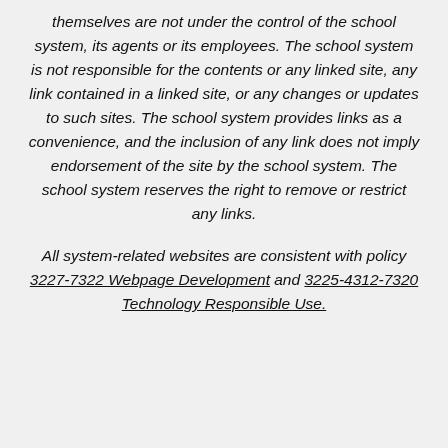themselves are not under the control of the school system, its agents or its employees. The school system is not responsible for the contents or any linked site, any link contained in a linked site, or any changes or updates to such sites. The school system provides links as a convenience, and the inclusion of any link does not imply endorsement of the site by the school system. The school system reserves the right to remove or restrict any links.
All system-related websites are consistent with policy 3227-7322 Webpage Development and 3225-4312-7320 Technology Responsible Use.